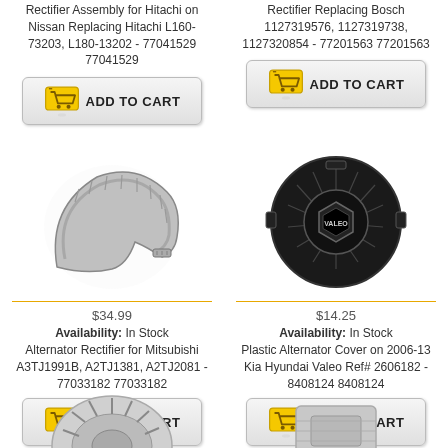Rectifier Assembly for Hitachi on Nissan Replacing Hitachi L160-73203, L180-13202 - 77041529 77041529
[Figure (other): Add to Cart button with yellow shopping cart icon]
Rectifier Replacing Bosch 1127319576, 1127319738, 1127320854 - 77201563 77201563
[Figure (other): Add to Cart button with yellow shopping cart icon]
[Figure (photo): Photo of alternator rectifier part for Mitsubishi - metallic curved component]
$34.99
Availability: In Stock
Alternator Rectifier for Mitsubishi A3TJ1991B, A2TJ1381, A2TJ2081 - 77033182 77033182
[Figure (other): Add to Cart button with yellow shopping cart icon]
[Figure (photo): Photo of black plastic alternator cover for Kia Hyundai Valeo]
$14.25
Availability: In Stock
Plastic Alternator Cover on 2006-13 Kia Hyundai Valeo Ref# 2606182 - 8408124 8408124
[Figure (other): Add to Cart button with yellow shopping cart icon]
[Figure (photo): Partial view of alternator part at bottom left]
[Figure (photo): Partial view of alternator part at bottom right]